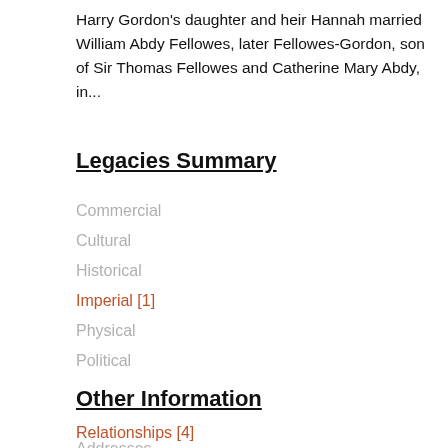Harry Gordon's daughter and heir Hannah married William Abdy Fellowes, later Fellowes-Gordon, son of Sir Thomas Fellowes and Catherine Mary Abdy, in...
Legacies Summary
Commercial
Cultural
Historical
Imperial [1]
Physical
Political
Other Information
Relationships [4]
Addresses